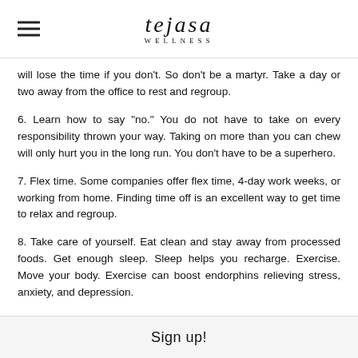[Figure (logo): Tejasa Wellness logo with hamburger menu icon]
will lose the time if you don't. So don't be a martyr. Take a day or two away from the office to rest and regroup.
6. Learn how to say "no." You do not have to take on every responsibility thrown your way. Taking on more than you can chew will only hurt you in the long run. You don't have to be a superhero.
7. Flex time. Some companies offer flex time, 4-day work weeks, or working from home. Finding time off is an excellent way to get time to relax and regroup.
8. Take care of yourself. Eat clean and stay away from processed foods. Get enough sleep. Sleep helps you recharge. Exercise. Move your body. Exercise can boost endorphins relieving stress, anxiety, and depression.
9. Meditate! Meditation helps you get clear. It enables you to prioritize and
Sign up!